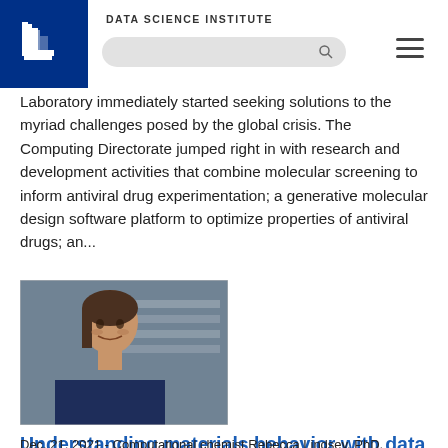DATA SCIENCE INSTITUTE
Laboratory immediately started seeking solutions to the myriad challenges posed by the global crisis. The Computing Directorate jumped right in with research and development activities that combine molecular screening to inform antiviral drug experimentation; a generative molecular design software platform to optimize properties of antiviral drugs; an...
[Figure (photo): A woman (computational chemist Rebecca Lindsey, PhD) smiling in a laboratory setting with equipment visible in the background.]
Understanding materials behavior with data science (VIDEO)
Dec. 21, 2021 - Computational chemist Rebecca Lindsey, PhD, explains how machine learning and data science techniques